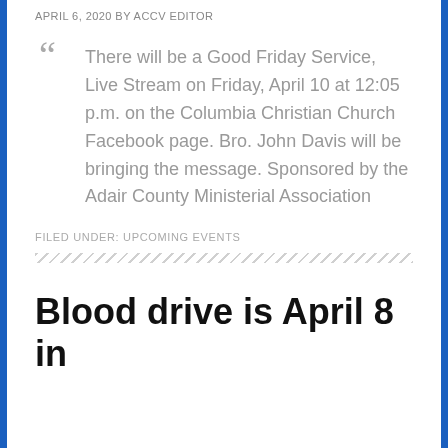APRIL 6, 2020 BY ACCV EDITOR
There will be a Good Friday Service, Live Stream on Friday, April 10 at 12:05 p.m. on the Columbia Christian Church Facebook page. Bro. John Davis will be bringing the message. Sponsored by the Adair County Ministerial Association
FILED UNDER: UPCOMING EVENTS
Blood drive is April 8 in